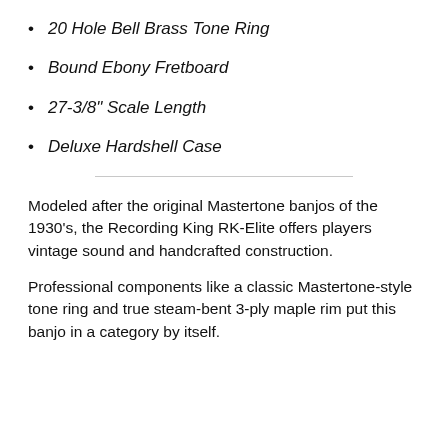20 Hole Bell Brass Tone Ring
Bound Ebony Fretboard
27-3/8" Scale Length
Deluxe Hardshell Case
Modeled after the original Mastertone banjos of the 1930's, the Recording King RK-Elite offers players vintage sound and handcrafted construction.
Professional components like a classic Mastertone-style tone ring and true steam-bent 3-ply maple rim put this banjo in a category by itself.